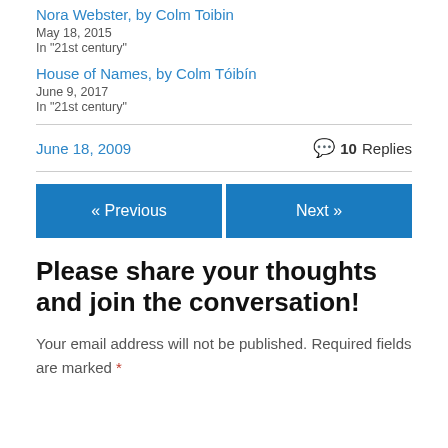Nora Webster, by Colm Toibin
May 18, 2015
In "21st century"
House of Names, by Colm Tóibín
June 9, 2017
In "21st century"
June 18, 2009   10 Replies
« Previous
Next »
Please share your thoughts and join the conversation!
Your email address will not be published. Required fields are marked *